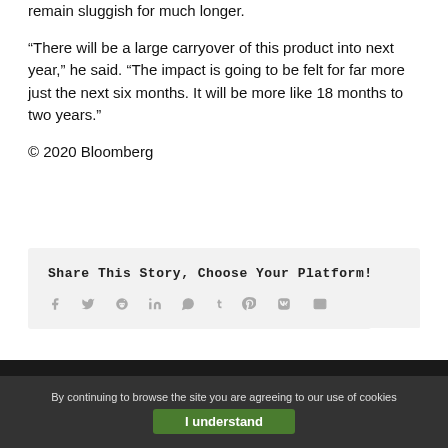remain sluggish for much longer.
“There will be a large carryover of this product into next year,” he said. “The impact is going to be felt for far more just the next six months. It will be more like 18 months to two years.”
© 2020 Bloomberg
Share This Story, Choose Your Platform!
[Figure (infographic): Social media share icons: Facebook, Twitter, Reddit, LinkedIn, WhatsApp, Tumblr, Pinterest, VK, Email]
By continuing to browse the site you are agreeing to our use of cookies
I understand